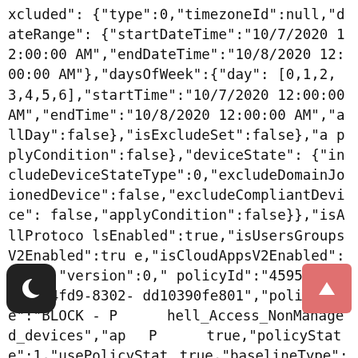xcluded":{"type":0,"timezoneId":null,"dateRange":{"startDateTime":"10/7/2020 12:00:00 AM","endDateTime":"10/8/2020 12:00:00 AM"},"daysOfWeek":{"day":[0,1,2,3,4,5,6],"startTime":"10/7/2020 12:00:00 AM","endTime":"10/8/2020 12:00:00 AM","allDay":false},"isExcludeSet":false},"applyCondition":false},"deviceState":{"includeDeviceStateType":0,"excludeDomainJoinedDevice":false,"excludeCompliantDevice":false,"applyCondition":false}},"isAllProtocolsEnabled":true,"isUsersGroupsV2Enabled":true,"isCloudAppsV2Enabled":false,"version":0,"policyId":"45953875-788b-4fd9-8302-dd10390fe801","policyName":"BLOCK - P hell_Access_NonManaged_devices","ap P true,"policyState":1,"usePolicyStat true,"baselineType":0}'